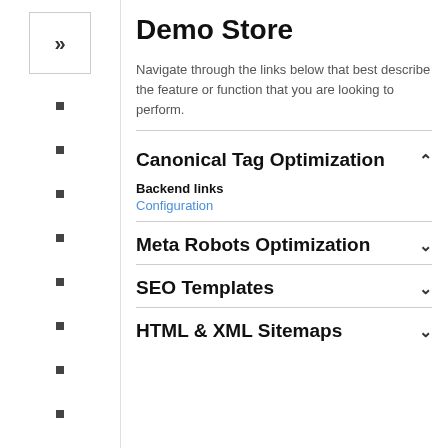Demo Store
Navigate through the links below that best describe the feature or function that you are looking to perform.
Canonical Tag Optimization
Backend links
Configuration
Meta Robots Optimization
SEO Templates
HTML & XML Sitemaps